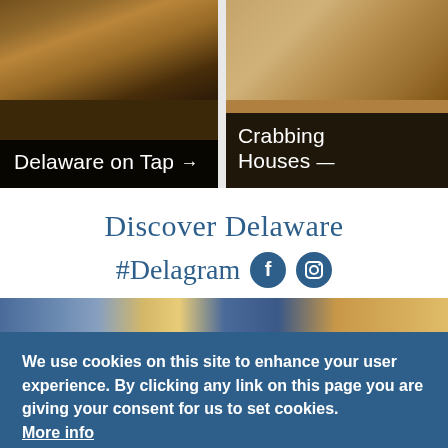[Figure (photo): Two promotional cards side by side: left card shows 'Delaware on Tap' with dark background photo of drinks; right card shows 'Crabbing Houses' with food photo background]
Discover Delaware
#Delagram
[Figure (photo): Partial photo strip showing indoor/outdoor Delaware scene]
We use cookies on this site to enhance your user experience. By clicking any link on this page you are giving your consent for us to set cookies. More info
GOT IT